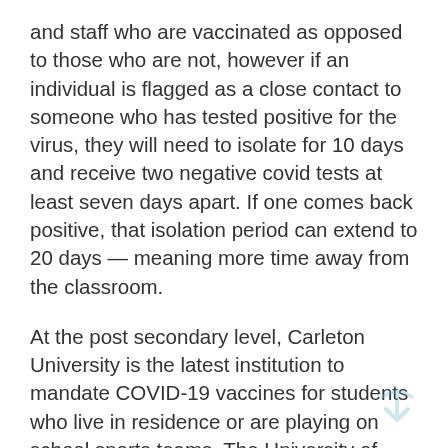and staff who are vaccinated as opposed to those who are not, however if an individual is flagged as a close contact to someone who has tested positive for the virus, they will need to isolate for 10 days and receive two negative covid tests at least seven days apart. If one comes back positive, that isolation period can extend to 20 days — meaning more time away from the classroom.
At the post secondary level, Carleton University is the latest institution to mandate COVID-19 vaccines for students who live in residence or are playing on school sports teams. The University of Ottawa has come out with similar guidelines. Algonquin College on the other hand has not yet put such procedures in place, and plans on still offering much of their programming online with only 48 per cent of courses receiving at least some sort of an in person